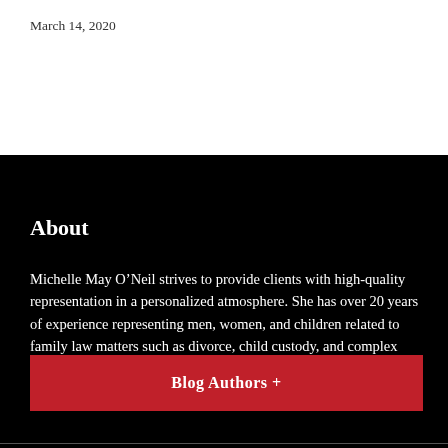March 14, 2020
About
Michelle May O’Neil strives to provide clients with high-quality representation in a personalized atmosphere. She has over 20 years of experience representing men, women, and children related to family law matters such as divorce, child custody, and complex property division.
Blog Authors +